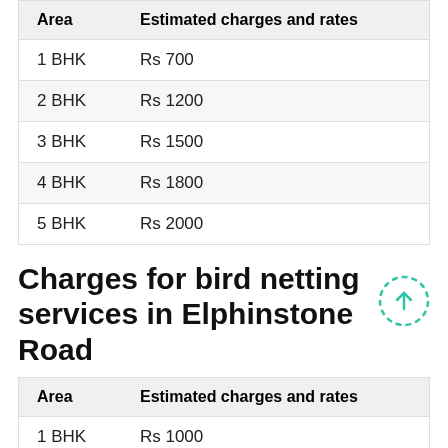| Area | Estimated charges and rates |
| --- | --- |
| 1 BHK | Rs 700 |
| 2 BHK | Rs 1200 |
| 3 BHK | Rs 1500 |
| 4 BHK | Rs 1800 |
| 5 BHK | Rs 2000 |
Charges for bird netting services in Elphinstone Road
| Area | Estimated charges and rates |
| --- | --- |
| 1 BHK | Rs 1000 |